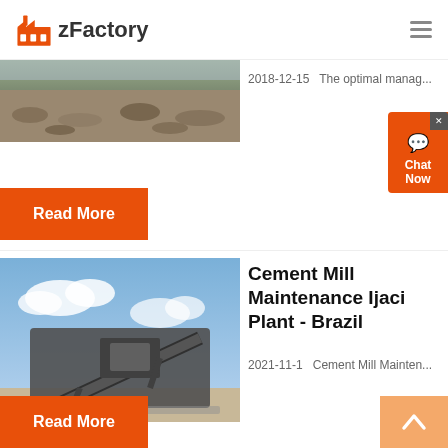zFactory
[Figure (photo): Aerial view of crushed stone or gravel at a quarry/mining site]
2018-12-15   The optimal manag...
Read More
[Figure (photo): Industrial conveyor/crusher machine at a mining or cement plant site against blue sky]
Cement Mill Maintenance Ijaci Plant - Brazil
2021-11-1   Cement Mill Mainten...
Read More